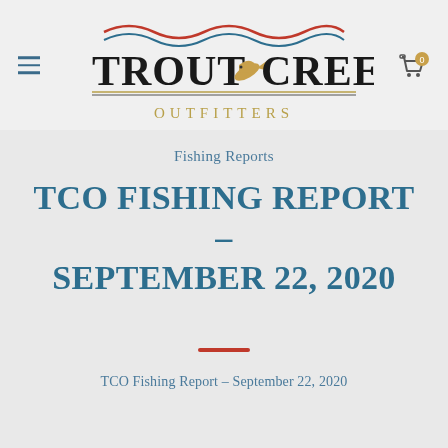[Figure (logo): Trout Creek Outfitters logo with mountain/wave lines in red and blue above the name, a leaping trout illustration, and 'OUTFITTERS' in gold below]
Fishing Reports
TCO FISHING REPORT – SEPTEMBER 22, 2020
TCO Fishing Report – September 22, 2020